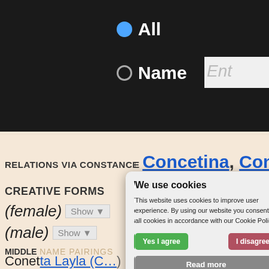[Figure (screenshot): Dark top banner with radio buttons: 'All' (selected, blue) and 'Name' (unselected), and a text input box showing 'Ent']
RELATIONS VIA CONSTANCE Concetina, Cons…
CREATIVE FORMS
(female) Show ▼
(male) Show ▼
MIDDLE NAME PAIRINGS
Conetta  Layla (C…) More ▼
[Figure (screenshot): Cookie consent dialog: title 'We use cookies', body text about cookie policy, 'Yes I agree' green button, 'I disagree' red button, 'Read more' gray bar, footer 'Free cookie consent by cookie-script.com']